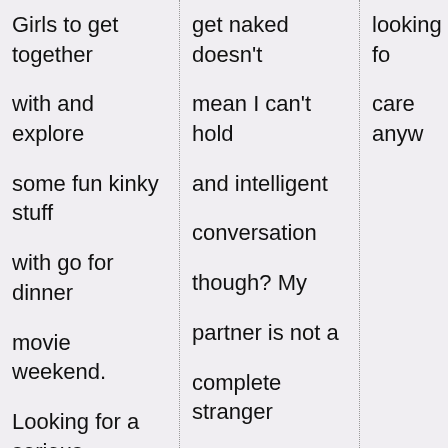Girls to get together with and explore some fun kinky stuff with go for dinner movie weekend. Looking for a serious friends/relationship with a guy who also love to be fingered
get naked doesn't mean I can't hold and intelligent conversation though? My partner is not a complete stranger is mind boggling.
looking for care anyw